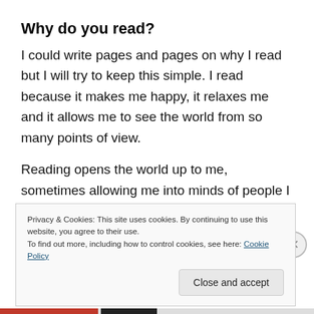Why do you read?
I could write pages and pages on why I read but I will try to keep this simple. I read because it makes me happy, it relaxes me and it allows me to see the world from so many points of view.
Reading opens the world up to me, sometimes allowing me into minds of people I could never have entered into before. I will never be able to meet every type of person in this world but through reading I can meet so many
Privacy & Cookies: This site uses cookies. By continuing to use this website, you agree to their use.
To find out more, including how to control cookies, see here: Cookie Policy
Close and accept